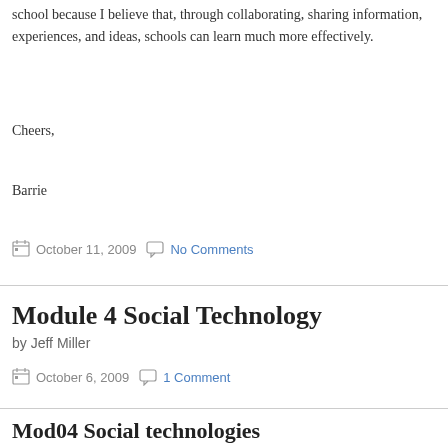school because I believe that, through collaborating, sharing information, experiences, and ideas, schools can learn much more effectively.
Cheers,
Barrie
October 11, 2009   No Comments
Module 4 Social Technology
by Jeff Miller
October 6, 2009   1 Comment
Mod04 Social technologies
by Barbara Mair
As you go thru all the Social Technologies, polls, participate in the discussions and en